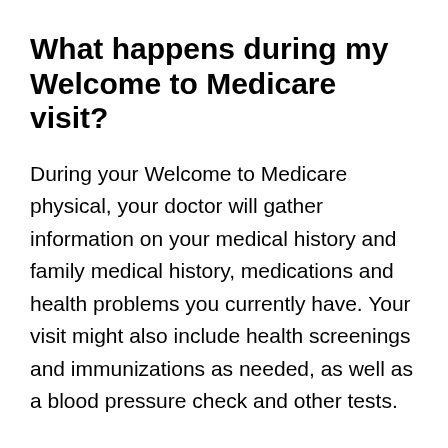What happens during my Welcome to Medicare visit?
During your Welcome to Medicare physical, your doctor will gather information on your medical history and family medical history, medications and health problems you currently have. Your visit might also include health screenings and immunizations as needed, as well as a blood pressure check and other tests.
Are discounted services available?